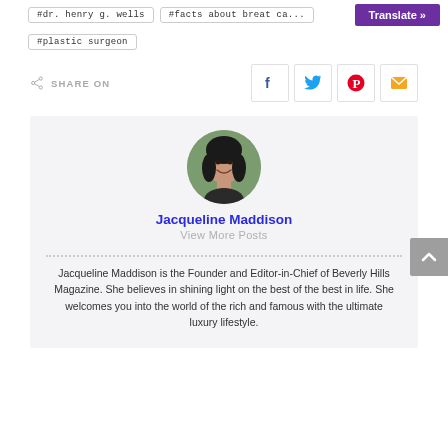#dr. henry g. wells   #facts about breat ca...
#plastic surgeon
Translate »
SHARE ON
Jacqueline Maddison
View More Posts
Jacqueline Maddison is the Founder and Editor-in-Chief of Beverly Hills Magazine. She believes in shining light on the best of the best in life. She welcomes you into the world of the rich and famous with the ultimate luxury lifestyle.